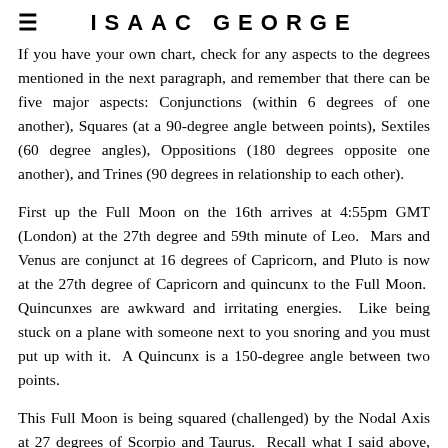ISAAC GEORGE
If you have your own chart, check for any aspects to the degrees mentioned in the next paragraph, and remember that there can be five major aspects: Conjunctions (within 6 degrees of one another), Squares (at a 90-degree angle between points), Sextiles (60 degree angles), Oppositions (180 degrees opposite one another), and Trines (90 degrees in relationship to each other).
First up the Full Moon on the 16th arrives at 4:55pm GMT (London) at the 27th degree and 59th minute of Leo.  Mars and Venus are conjunct at 16 degrees of Capricorn, and Pluto is now at the 27th degree of Capricorn and quincunx to the Full Moon.  Quincunxes are awkward and irritating energies.  Like being stuck on a plane with someone next to you snoring and you must put up with it.  A Quincunx is a 150-degree angle between two points.
This Full Moon is being squared (challenged) by the Nodal Axis at 27 degrees of Scorpio and Taurus.  Recall what I said above, about the transiting Nodes saying, “pay attention to this!”?  Here it is. Taurus is our values versus the culture or society’s value